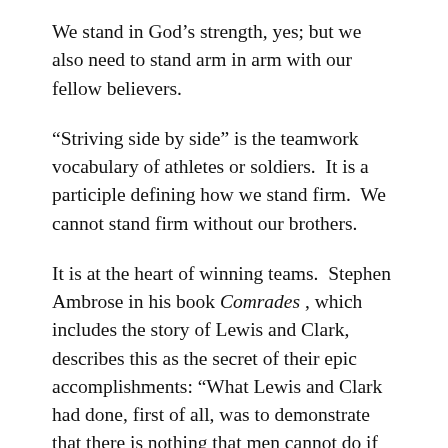We stand in God's strength, yes; but we also need to stand arm in arm with our fellow believers.
“Striving side by side” is the teamwork vocabulary of athletes or soldiers.  It is a participle defining how we stand firm.  We cannot stand firm without our brothers.
It is at the heart of winning teams.  Stephen Ambrose in his book Comrades , which includes the story of Lewis and Clark, describes this as the secret of their epic accomplishments: “What Lewis and Clark had done, first of all, was to demonstrate that there is nothing that men cannot do if they get themselves together and act as a team” (Stephen E. Ambrose, Comrades (New York: Simon & Schuster, 1999), pp. 105, 106) .
A bad example was the U.S. Olympic basketball team